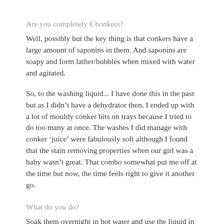Are you completely € bonkers?
Well, possibly but the key thing is that conkers have a large amount of saponins in them. And saponins are soapy and form lather/bubbles when mixed with water and agitated.
So, to the washing liquid... I have done this in the past but as I didn't have a dehydrator then, I ended up with a lot of mouldy conker bits on trays because I tried to do too many at once. The washes I did manage with conker 'juice' were fabulously soft although I found that the stain removing properties when our girl was a baby wasn't great. That combo somewhat put me off at the time but now, the time feels right to give it another go.
What do you do?
Soak them overnight in hot water and use the liquid in place of washing detergents. There will be a fair